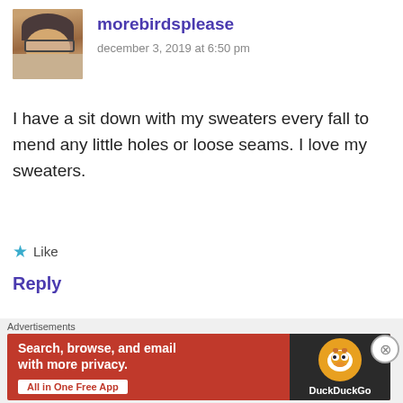[Figure (photo): Avatar photo of morebirdsplease — a woman with short grey hair and glasses]
morebirdsplease
december 3, 2019 at 6:50 pm
I have a sit down with my sweaters every fall to mend any little holes or loose seams. I love my sweaters.
★ Like
Reply
[Figure (logo): Jo Starkie avatar — dark purple/maroon geometric chip/processor icon]
Jo Starkie
december 3, 2019 at 10:11 pm
Advertisements
[Figure (screenshot): DuckDuckGo advertisement banner: 'Search, browse, and email with more privacy. All in One Free App' with DuckDuckGo logo on dark right panel]